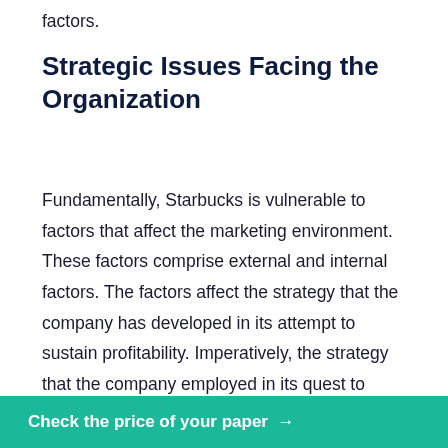factors.
Strategic Issues Facing the Organization
Fundamentally, Starbucks is vulnerable to factors that affect the marketing environment. These factors comprise external and internal factors. The factors affect the strategy that the company has developed in its attempt to sustain profitability. Imperatively, the strategy that the company employed in its quest to achieve economic growth and development in the aftermath of declining sales and revenues was successful because it blended well with the issues th… onment. It is … s fall in the
Check the price of your paper →